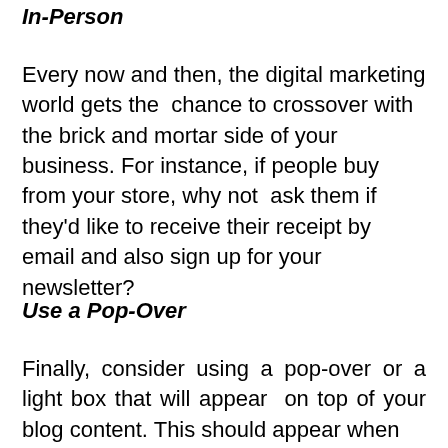In-Person
Every now and then, the digital marketing world gets the  chance to crossover with the brick and mortar side of your business. For instance, if people buy from your store, why not  ask them if they'd like to receive their receipt by email and also sign up for your newsletter?
Use a Pop-Over
Finally, consider using a pop-over or a light box that will appear  on top of your blog content. This should appear when